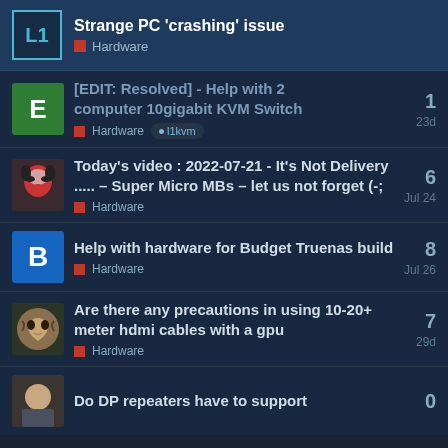Strange PC 'crashing' issue — Hardware
[EDIT: Resolved] Help with 2 computer 10gigabit KVM Switch — Hardware, l1kvm — 23d — 1 reply
Today's video : 2022-07-21 - It's Not Delivery ..... – Super Micro MBs – let us not forget (-; — Hardware — Jul 24 — 6 replies
Help with hardware for Budget Truenas build — Hardware — Jul 26 — 8 replies
Are there any precautions in using 10-20+ meter hdmi cables with a gpu — Hardware — 29d — 7 replies
Do DP repeaters have to support — 0 replies